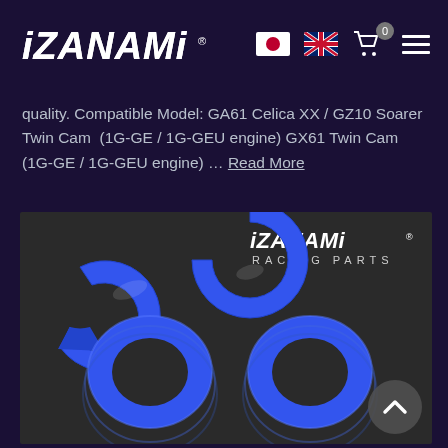iZANAMi
quality. Compatible Model: GA61 Celica XX / GZ10 Soarer Twin Cam  (1G-GE / 1G-GEU engine) GX61 Twin Cam  (1G-GE / 1G-GEU engine) … Read More
[Figure (photo): Blue anodized spring perch/retainer rings for automotive coilover suspension, branded iZANAMi Racing Parts. Four blue ring components shown on dark background.]